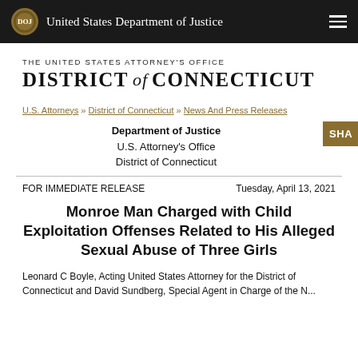United States Department of Justice
THE UNITED STATES ATTORNEY'S OFFICE DISTRICT of CONNECTICUT
U.S. Attorneys » District of Connecticut » News And Press Releases
Department of Justice
U.S. Attorney's Office
District of Connecticut
FOR IMMEDIATE RELEASE
Tuesday, April 13, 2021
Monroe Man Charged with Child Exploitation Offenses Related to His Alleged Sexual Abuse of Three Girls
Leonard C Boyle, Acting United States Attorney for the District of Connecticut and David Sundberg, Special Agent in Charge of the N...